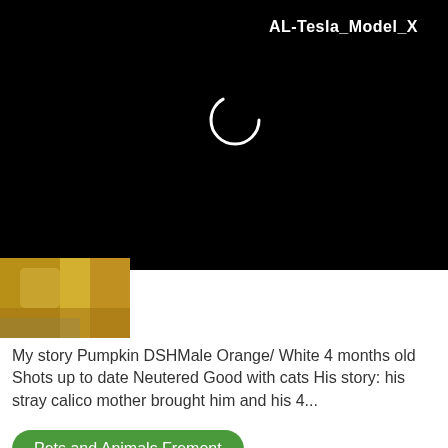AL-Tesla_Model_X
[Figure (screenshot): Black top bar with a circular spinner/loading icon in white outline on dark background, and a partial thumbnail image of a cat (orange/tan coloring) in the bottom-left corner]
My story Pumpkin DSHMale Orange/ White 4 months old Shots up to date Neutered Good with cats His story: his stray calico mother brought him and his 4...
Pets and Animals Fremont